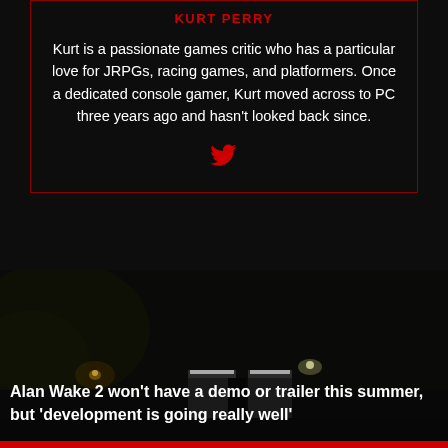KURT PERRY
Kurt is a passionate games critic who has a particular love for JRPGs, racing games, and platformers. Once a dedicated console gamer, Kurt moved across to PC three years ago and hasn't looked back since.
[Figure (illustration): Red Twitter bird icon]
[Figure (photo): Dark nighttime scene showing dim street lights against a very dark background, likely a game screenshot from Alan Wake 2]
Alan Wake 2 won't have a demo or trailer this summer, but 'development is going really well'